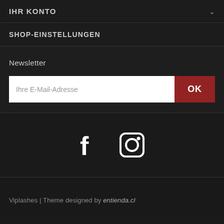IHR KONTO
SHOP-EINSTELLUNGEN
Newsletter
Ihre E-Mail-Adresse
[Figure (illustration): Facebook and Instagram social media icons in white on dark background]
Viplashes | Theme designed by entienda.cl